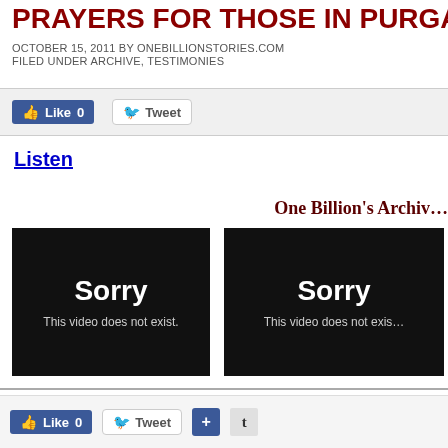PRAYERS FOR THOSE IN PURGA…
OCTOBER 15, 2011 BY ONEBILLIONSTORIES.COM
FILED UNDER ARCHIVE, TESTIMONIES
Like 0   Tweet
Listen
One Billion's Archiv…
[Figure (screenshot): Black video player placeholder showing 'Sorry This video does not exist.']
[Figure (screenshot): Black video player placeholder showing 'Sorry This video does not exis…']
Today's Story: Prayers for thos…
Like 0   Tweet   +   t